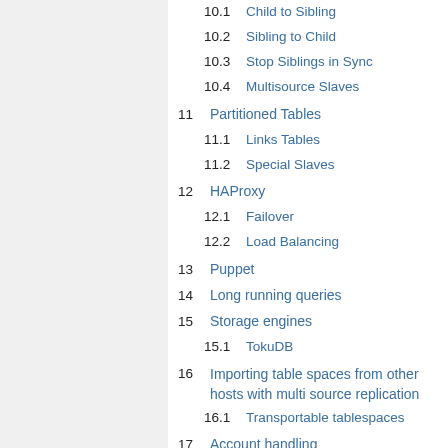10.1  Child to Sibling
10.2  Sibling to Child
10.3  Stop Siblings in Sync
10.4  Multisource Slaves
11  Partitioned Tables
11.1  Links Tables
11.2  Special Slaves
12  HAProxy
12.1  Failover
12.2  Load Balancing
13  Puppet
14  Long running queries
15  Storage engines
15.1  TokuDB
16  Importing table spaces from other hosts with multi source replication
16.1  Transportable tablespaces
17  Account handling
17.1  How unix_socket authentication works
18  Dumping tables with mydumpor